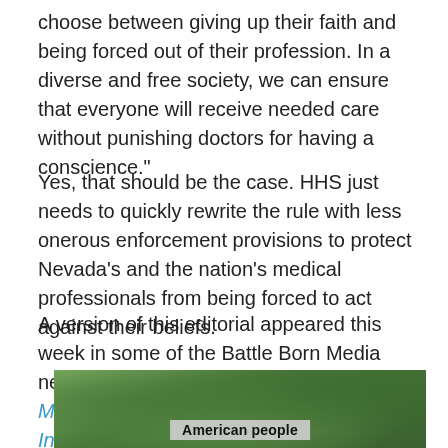choose between giving up their faith and being forced out of their profession. In a diverse and free society, we can ensure that everyone will receive needed care without punishing doctors for having a conscience."
Yes, that should be the case. HHS just needs to quickly rewrite the rule with less onerous enforcement provisions to protect Nevada's and the nation's medical professionals from being forced to act against their beliefs.
A version of this editorial appeared this week in some of the Battle Born Media newspapers — The Ely Times, the Mesquite Local News, the Mineral County Independent-News, the Eureka Sentinel, Sparks Tribune and the Lincoln County Record.
[Figure (photo): Partially visible outdoor photo with green foliage/trees and a sign reading 'American people' visible at the bottom center]